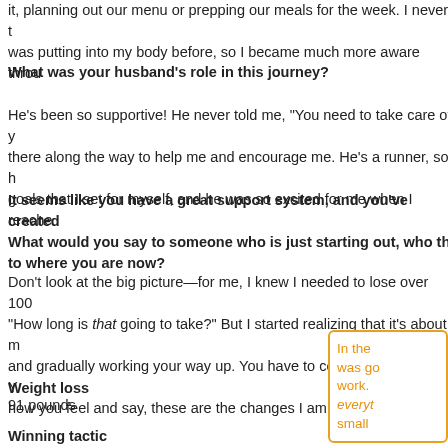it, planning out our menu or prepping our meals for the week. I never thought about what I was putting into my body before, so I became much more aware throu…
What was your husband's role in this journey?
He's been so supportive! He never told me, "You need to take care of y… there along the way to help me and encourage me. He's a runner, so h… goals that I set for myself, and he was so excited for me when I reache…
It seems like you have a great support system, and you've created… What would you say to someone who is just starting out, who thi… to where you are now?
Don't look at the big picture—for me, I knew I needed to lose over 100… "How long is that going to take?" But I started realizing that it's about m… and gradually working your way up. You have to concentrate on you. Y… how you feel and say, these are the changes I am making for myself.
Weight loss
91 pounds
Favorite indulgence
Ice cream
Winning tactic
In the… was go… work. … everyt… small …